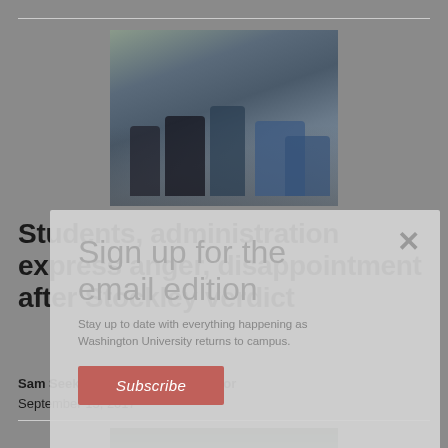[Figure (photo): Outdoor street scene showing people including a police officer on a bicycle]
Students, administration express anger, disappointment after Stockley verdict
Sam Seekings | Senior News Editor
September 15, 2017
[Figure (photo): Partial photo of a green background/chalkboard at bottom of page]
Sign up for the email edition
Stay up to date with everything happening as Washington University returns to campus.
Subscribe